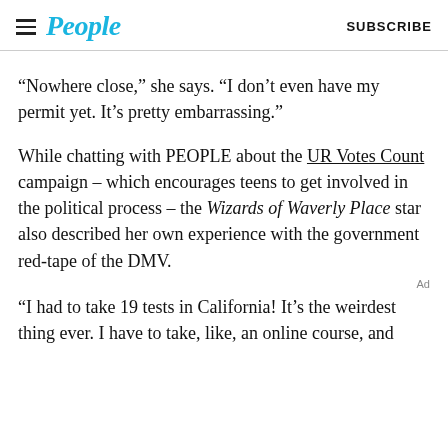People | SUBSCRIBE
“Nowhere close,” she says. “I don’t even have my permit yet. It’s pretty embarrassing.”
While chatting with PEOPLE about the UR Votes Count campaign – which encourages teens to get involved in the political process – the Wizards of Waverly Place star also described her own experience with the government red-tape of the DMV.
“I had to take 19 tests in California! It’s the weirdest thing ever. I have to take, like, an online course, and